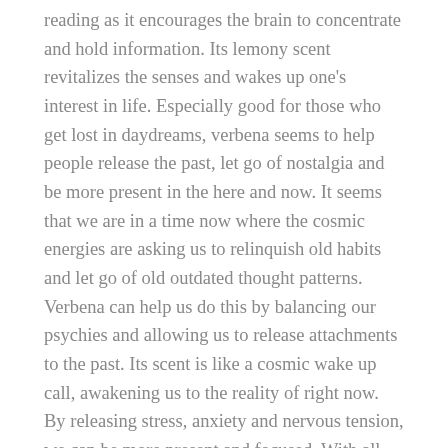reading as it encourages the brain to concentrate and hold information. Its lemony scent revitalizes the senses and wakes up one's interest in life. Especially good for those who get lost in daydreams, verbena seems to help people release the past, let go of nostalgia and be more present in the here and now. It seems that we are in a time now where the cosmic energies are asking us to relinquish old habits and let go of old outdated thought patterns. Verbena can help us do this by balancing our psychies and allowing us to release attachments to the past. Its scent is like a cosmic wake up call, awakening us to the reality of right now. By releasing stress, anxiety and nervous tension, we can be more present and focused. With all the pressures of work and home life, verbena helps those who are being tested to their limits by instead offering relaxation, harmony and a sense of enthusiasm.
When we are stressed, we often have a nervous stomach. Lemon verbena acts as a tonic and carminative, relieving